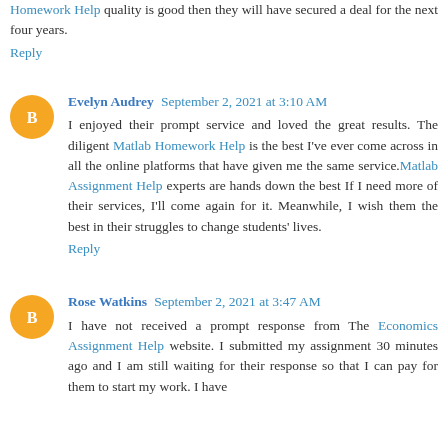Homework Help quality is good then they will have secured a deal for the next four years.
Reply
Evelyn Audrey  September 2, 2021 at 3:10 AM
I enjoyed their prompt service and loved the great results. The diligent Matlab Homework Help is the best I've ever come across in all the online platforms that have given me the same service. Matlab Assignment Help experts are hands down the best If I need more of their services, I'll come again for it. Meanwhile, I wish them the best in their struggles to change students' lives.
Reply
Rose Watkins  September 2, 2021 at 3:47 AM
I have not received a prompt response from The Economics Assignment Help website. I submitted my assignment 30 minutes ago and I am still waiting for their response so that I can pay for them to start my work. I have